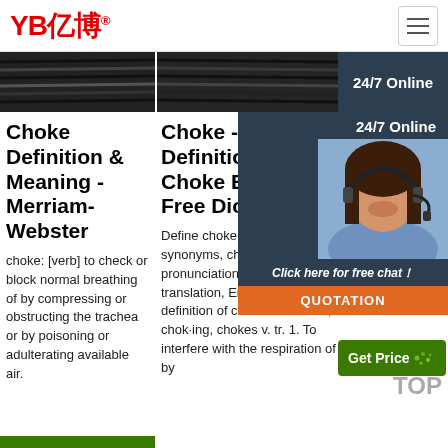YB亿博®
[Figure (photo): Two photos of black wire/cable products side by side]
[Figure (infographic): 24/7 Online chat widget with customer service representative photo, 'Click here for free chat!' text, and QUOTATION button]
Choke Definition & Meaning - Merriam-Webster
choke: [verb] to check or block normal breathing of by compressing or obstructing the trachea or by poisoning or adulterating available air.
Choke - Definition Of Choke By The Free Dictionary
Define choke. choke synonyms, choke pronunciation, choke translation, English dictionary definition of choke. v. choked, chok·ing, chokes v. tr. 1. To interfere with the respiration of by
Ch De Me
Cho stop by s obs win stifle
[Figure (infographic): Get Price button (green) with TOP label]